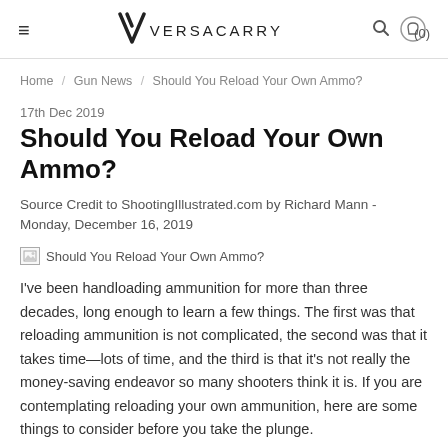≡  VERSACARRY  🔍  (0)
Home / Gun News / Should You Reload Your Own Ammo?
17th Dec 2019
Should You Reload Your Own Ammo?
Source Credit to ShootingIllustrated.com by Richard Mann - Monday, December 16, 2019
[Figure (photo): Broken image placeholder with alt text: Should You Reload Your Own Ammo?]
I've been handloading ammunition for more than three decades, long enough to learn a few things. The first was that reloading ammunition is not complicated, the second was that it takes time—lots of time, and the third is that it's not really the money-saving endeavor so many shooters think it is. If you are contemplating reloading your own ammunition, here are some things to consider before you take the plunge.